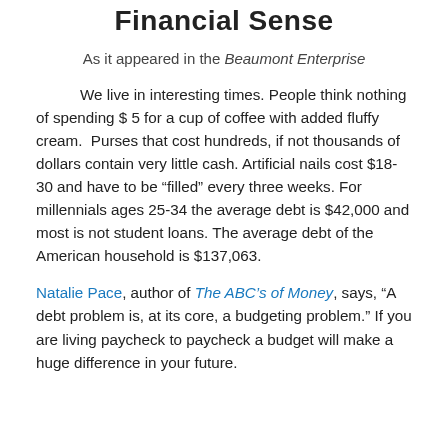Financial Sense
As it appeared in the Beaumont Enterprise
We live in interesting times. People think nothing of spending $ 5 for a cup of coffee with added fluffy cream.  Purses that cost hundreds, if not thousands of dollars contain very little cash. Artificial nails cost $18-30 and have to be “filled” every three weeks. For millennials ages 25-34 the average debt is $42,000 and most is not student loans. The average debt of the American household is $137,063.
Natalie Pace, author of The ABC’s of Money, says, “A debt problem is, at its core, a budgeting problem.” If you are living paycheck to paycheck a budget will make a huge difference in your future.